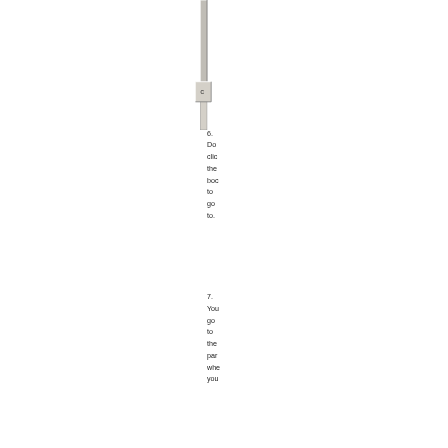[Figure (screenshot): A scrollbar UI element with a tab/button showing the letter 'c', part of a software interface]
6. Double-click the bookmark to go to.
7. You go to the page where you